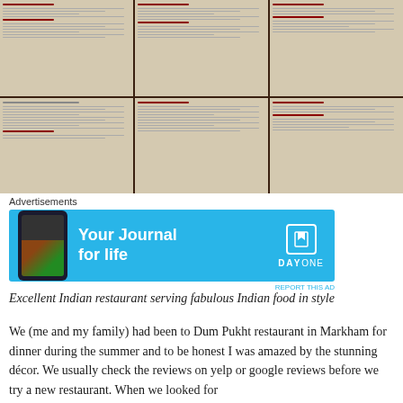[Figure (photo): Grid of 6 photos showing restaurant menu pages from Dum Pukht restaurant, arranged in 2 rows of 3 photos each, with dark wooden dividers between panels]
Advertisements
[Figure (photo): Advertisement banner for Day One app with sky blue background, showing a smartphone with the app, text 'Your Journal for life' and DAY ONE logo with bookmark icon]
REPORT THIS AD
Excellent Indian restaurant serving fabulous Indian food in style
We (me and my family) had been to Dum Pukht restaurant in Markham for dinner during the summer and to be honest I was amazed by the stunning décor. We usually check the reviews on yelp or google reviews before we try a new restaurant. When we looked for